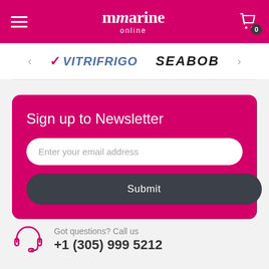mmarine online
[Figure (logo): Vitrifrigo and SEABOB brand logos in a carousel]
Sign up to Newsletter
Enter your email address
Submit
Got questions? Call us +1 (305) 999 5212